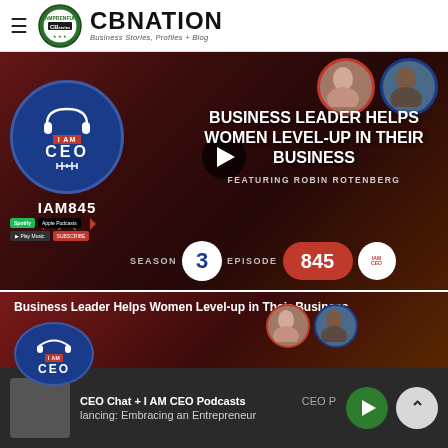CBNATION — Business Stories, Profiles + Blog
[Figure (screenshot): IAM CEO podcast thumbnail — Season 3 Episode 845, Business Leader Helps Women Level-Up in Their Business, Featuring Robin Rotenberg]
Business Leader Helps Women Level-up in Their Business
[Figure (screenshot): Second IAM CEO podcast thumbnail showing the same episode]
CEO Chat + I AM CEO Podcasts  CEO P  lancing: Embracing an Entrepreneur